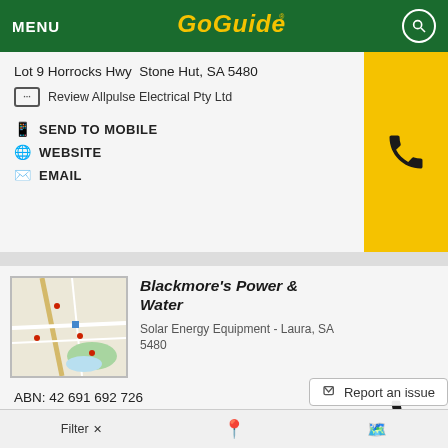MENU | GoGuide
Lot 9 Horrocks Hwy  Stone Hut, SA 5480
Review Allpulse Electrical Pty Ltd
SEND TO MOBILE
WEBSITE
EMAIL
Blackmore's Power & Water
Solar Energy Equipment - Laura, SA 5480
ABN: 42 691 692 726
20 Herbert St  Laura, SA 5480
Review Blackmore's Power & Water
Report an issue
SEND TO MOBILE